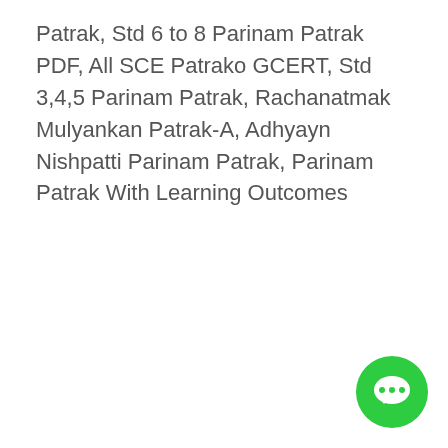Patrak, Std 6 to 8 Parinam Patrak PDF, All SCE Patrako GCERT, Std 3,4,5 Parinam Patrak, Rachanatmak Mulyankan Patrak-A, Adhyayn Nishpatti Parinam Patrak, Parinam Patrak With Learning Outcomes
[Figure (illustration): Green circular chat/messaging button with three dots (ellipsis) speech bubble icon in the bottom-right corner]